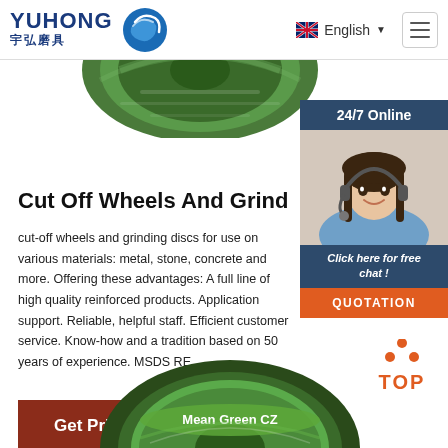YUHONG 宇弘磨具 | English
[Figure (photo): Top portion of a green grinding disc/cut-off wheel product]
[Figure (photo): 24/7 online chat widget showing a woman with headset, 'Click here for free chat!' and QUOTATION button]
Cut Off Wheels And Grinding Disc
cut-off wheels and grinding discs for use on various materials: metal, stone, concrete and more. Offering these advantages: A full line of high quality reinforced products. Application support. Reliable, helpful staff. Efficient customer service. Know-how and a tradition based on 50 years of experience. MSDS RE...
Get Price
[Figure (other): TOP navigation button with orange dots above]
[Figure (photo): Bottom portion of a 'Mean Green CZ' grinding disc product]